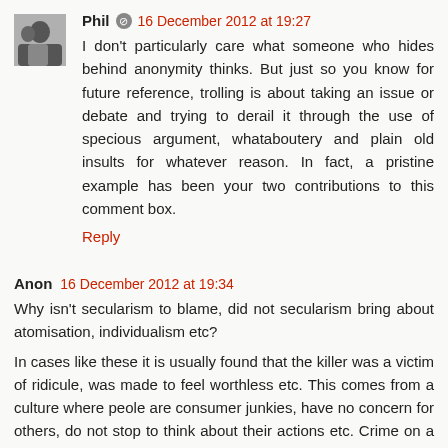[Figure (photo): Small avatar photo of Phil, black and white showing a person.]
Phil 🔘 16 December 2012 at 19:27
I don't particularly care what someone who hides behind anonymity thinks. But just so you know for future reference, trolling is about taking an issue or debate and trying to derail it through the use of specious argument, whataboutery and plain old insults for whatever reason. In fact, a pristine example has been your two contributions to this comment box.
Reply
Anon 16 December 2012 at 19:34
Why isn't secularism to blame, did not secularism bring about atomisation, individualism etc?
In cases like these it is usually found that the killer was a victim of ridicule, was made to feel worthless etc. This comes from a culture where peole are consumer junkies, have no concern for others, do not stop to think about their actions etc. Crime on a grand scale that goes unpunished.